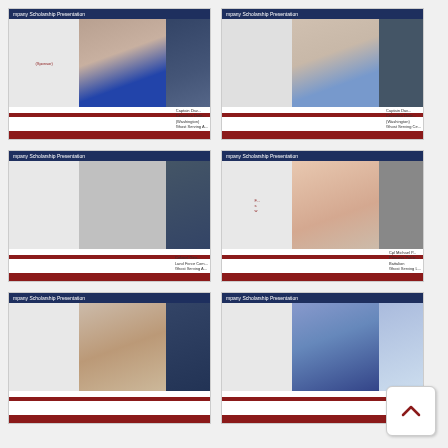[Figure (screenshot): Scholarship presentation slide 1: student photo and military officer photo, Captain Dav... Canadian Dete... (Washington), Ghost Serving A...]
[Figure (screenshot): Scholarship presentation slide 2: student photo and military officer photo, Captain Dav... Canadian Dete... (Washington), Ghost Serving Ce...]
[Figure (screenshot): Scholarship presentation slide 3: gray placeholder photo and military officer in uniform, Colonel Geo..., Land Force Com..., Ghost Serving A...]
[Figure (screenshot): Scholarship presentation slide 4: young woman with long brown hair smiling, black-and-white military photo, Cpl Michael P..., Princess Patric..., Battalion, Ghost Serving L...]
[Figure (screenshot): Scholarship presentation slide 5: man with mustache photo and naval officer photo]
[Figure (screenshot): Scholarship presentation slide 6: woman with blue hair photo and military person with Canadian flag]
[Figure (other): Back/up chevron navigation button in bottom right corner]